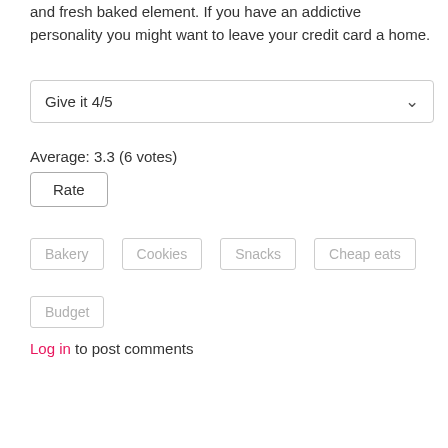and fresh baked element. If you have an addictive personality you might want to leave your credit card a home.
Give it 4/5
Average: 3.3 (6 votes)
Rate
Bakery
Cookies
Snacks
Cheap eats
Budget
Log in to post comments